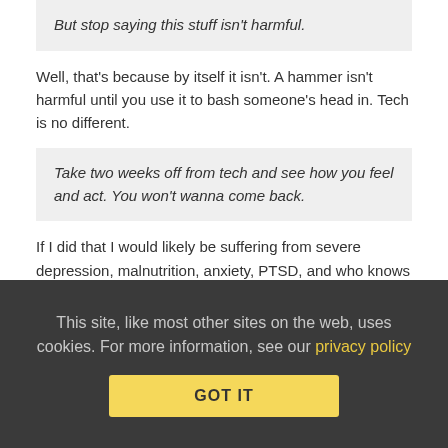But stop saying this stuff isn't harmful.
Well, that's because by itself it isn't. A hammer isn't harmful until you use it to bash someone's head in. Tech is no different.
Take two weeks off from tech and see how you feel and act. You won't wanna come back.
If I did that I would likely be suffering from severe depression, malnutrition, anxiety, PTSD, and who knows how many other things because I can't do my job without tech. Therefore I would likely be fired, lose my home, not be able to feed my family, be living on the streets and possibly even dead because I wouldn't be able to buy food.
Your argument is invalid, stupid and severely misinformed
This site, like most other sites on the web, uses cookies. For more information, see our privacy policy
GOT IT